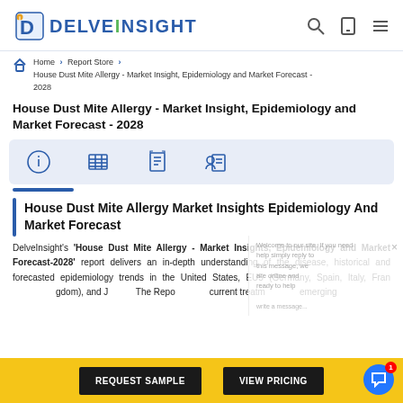[Figure (logo): DelveInsight logo with blue 'D' and colored 'i' dot]
Home > Report Store > House Dust Mite Allergy - Market Insight, Epidemiology and Market Forecast - 2028
House Dust Mite Allergy - Market Insight, Epidemiology and Market Forecast - 2028
[Figure (infographic): Icon bar with four icons: info, table, checklist, user-report on light blue background]
House Dust Mite Allergy Market Insights Epidemiology And Market Forecast
DelveInsight's 'House Dust Mite Allergy - Market Insights, Epidemiology and Market Forecast-2028' report delivers an in-depth understanding of the disease, historical and forecasted epidemiology trends in the United States, EU5 (Germany, Spain, Italy, France, United Kingdom), and Japan. The Report covers current treatment landscape, emerging therapies and more.